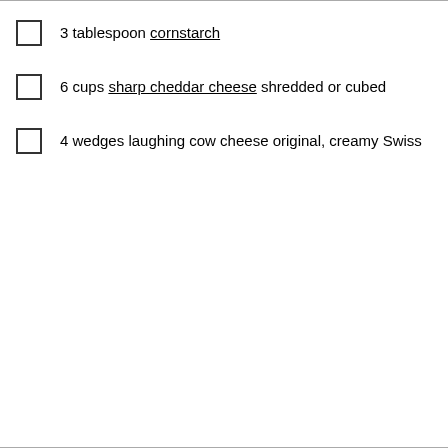3 tablespoon cornstarch
6 cups sharp cheddar cheese shredded or cubed
4 wedges laughing cow cheese original, creamy Swiss